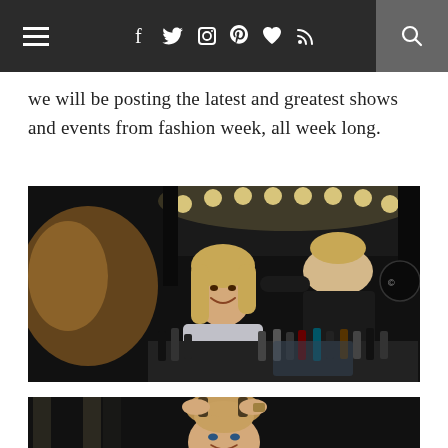Navigation bar with hamburger menu, social icons (Facebook, Twitter, Instagram, Pinterest, Heart, RSS), and search icon
we will be posting the latest and greatest shows and events from fashion week, all week long.
[Figure (photo): Fashion week backstage photo: a smiling blonde woman seated at a makeup station with vanity lights and beauty products, while a hairstylist in black works behind her]
[Figure (photo): Fashion week backstage photo: a hairstylist curling the hair of a smiling woman with an updo, backstage with vanity lights visible in background]